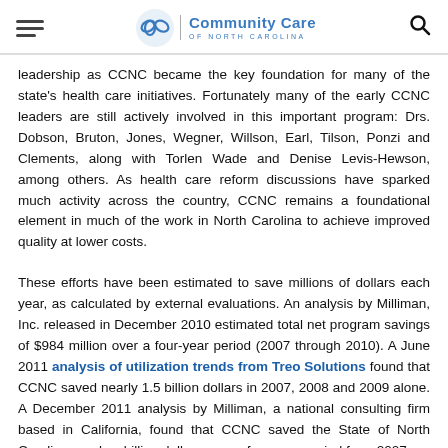Community Care of North Carolina
leadership as CCNC became the key foundation for many of the state's health care initiatives. Fortunately many of the early CCNC leaders are still actively involved in this important program: Drs. Dobson, Bruton, Jones, Wegner, Willson, Earl, Tilson, Ponzi and Clements, along with Torlen Wade and Denise Levis-Hewson, among others. As health care reform discussions have sparked much activity across the country, CCNC remains a foundational element in much of the work in North Carolina to achieve improved quality at lower costs.
These efforts have been estimated to save millions of dollars each year, as calculated by external evaluations. An analysis by Milliman, Inc. released in December 2010 estimated total net program savings of $984 million over a four-year period (2007 through 2010). A June 2011 analysis of utilization trends from Treo Solutions found that CCNC saved nearly 1.5 billion dollars in 2007, 2008 and 2009 alone. A December 2011 analysis by Milliman, a national consulting firm based in California, found that CCNC saved the State of North Carolina nearly a billion dollars over a four-year period from 2007